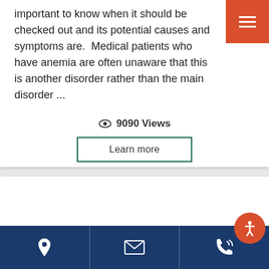important to know when it should be checked out and its potential causes and symptoms are. Medical patients who have anemia are often unaware that this is another disorder rather than the main disorder ...
👁 9090 Views
Learn more
7 Compelling Reasons Why You Need A Primary Care Physician
January 31, 2021
There are plenty of treatment options a primary care...
Location | Email | Phone